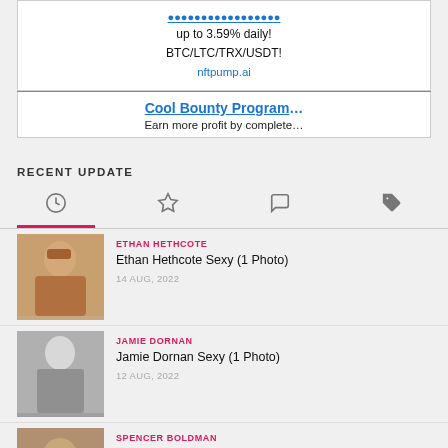[Figure (other): Advertisement banner: 'up to 3.59% daily! BTC/LTC/TRX/USDT! nftpump.ai']
[Figure (other): Advertisement banner: 'Cool Bounty Program - Earn more profit by complete...']
RECENT UPDATE
[Figure (other): Tab navigation bar with icons: clock, star, chat, tag. First tab (clock) is selected with pink underline.]
[Figure (photo): Thumbnail photo of Ethan Hethcote - male model holding a flower]
ETHAN HETHCOTE
Ethan Hethcote Sexy (1 Photo)
14 AUG, 2022
[Figure (photo): Thumbnail photo of Jamie Dornan - black and white male model photo]
JAMIE DORNAN
Jamie Dornan Sexy (1 Photo)
12 AUG, 2022
[Figure (photo): Thumbnail photo of Spencer Boldman - partially visible]
SPENCER BOLDMAN